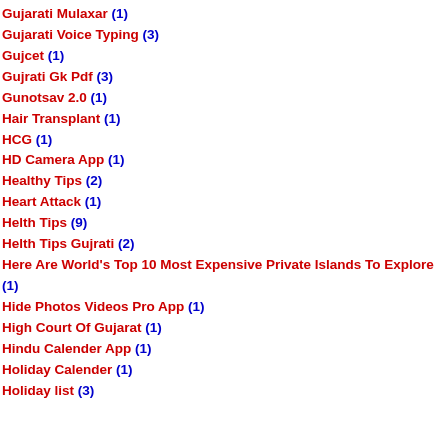Gujarati Mulaxar (1)
Gujarati Voice Typing (3)
Gujcet (1)
Gujrati Gk Pdf (3)
Gunotsav 2.0 (1)
Hair Transplant (1)
HCG (1)
HD Camera App (1)
Healthy Tips (2)
Heart Attack (1)
Helth Tips (9)
Helth Tips Gujrati (2)
Here Are World's Top 10 Most Expensive Private Islands To Explore (1)
Hide Photos Videos Pro App (1)
High Court Of Gujarat (1)
Hindu Calender App (1)
Holiday Calender (1)
Holiday list (3)